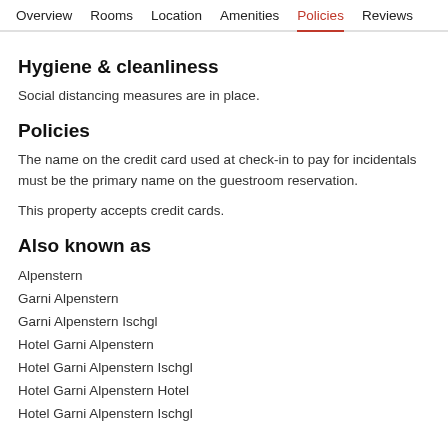Overview  Rooms  Location  Amenities  Policies  Reviews
Hygiene & cleanliness
Social distancing measures are in place.
Policies
The name on the credit card used at check-in to pay for incidentals must be the primary name on the guestroom reservation.
This property accepts credit cards.
Also known as
Alpenstern
Garni Alpenstern
Garni Alpenstern Ischgl
Hotel Garni Alpenstern
Hotel Garni Alpenstern Ischgl
Hotel Garni Alpenstern Hotel
Hotel Garni Alpenstern Ischgl